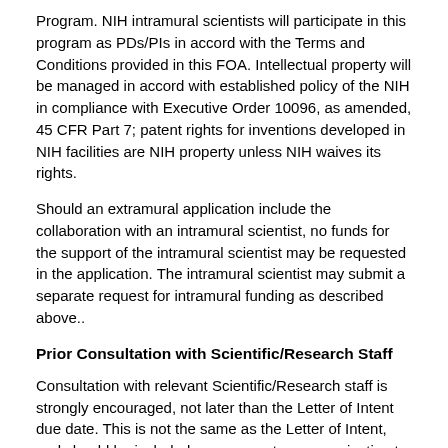Program. NIH intramural scientists will participate in this program as PDs/PIs in accord with the Terms and Conditions provided in this FOA. Intellectual property will be managed in accord with established policy of the NIH in compliance with Executive Order 10096, as amended, 45 CFR Part 7; patent rights for inventions developed in NIH facilities are NIH property unless NIH waives its rights.
Should an extramural application include the collaboration with an intramural scientist, no funds for the support of the intramural scientist may be requested in the application. The intramural scientist may submit a separate request for intramural funding as described above..
Prior Consultation with Scientific/Research Staff
Consultation with relevant Scientific/Research staff is strongly encouraged, not later than the Letter of Intent due date. This is not the same as the Letter of Intent, and should be included as a separate communication to the Scientific/Research Contacts, see Section VII.  If requested by the applicants, staff can advise whether the proposed project meets the goals of this FOA and the mission of the BRAIN initiative, and discuss responsiveness questions.  Staff will not evaluate the technical and scientific merit of the proposed